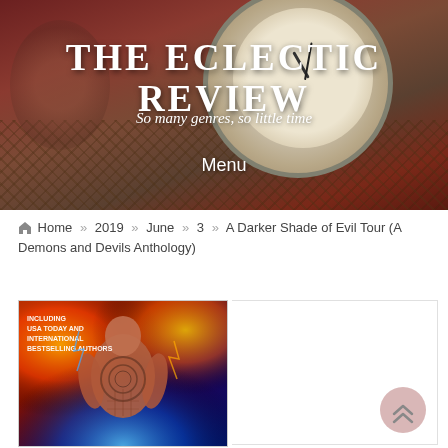THE ECLECTIC REVIEW
So many genres, so little time
Menu
Home » 2019 » June » 3 » A Darker Shade of Evil Tour (A Demons and Devils Anthology)
[Figure (photo): Book cover for A Darker Shade of Evil Tour (A Demons and Devils Anthology) showing a muscular male figure surrounded by fire and blue energy, with text reading INCLUDING USA TODAY AND INTERNATIONAL BESTSELLING AUTHORS]
[Figure (other): Back to top button — circular pink/rose button with double up-arrow chevron]